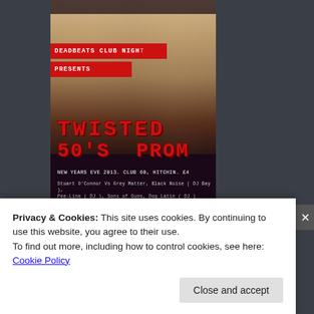[Figure (illustration): Event poster for 'DEADBEATS CLUB NIGHT PRESENTS TWISTED 50's PROM' event on New Years Eve 2013 at Club 60, Hitchin. Features vintage prom photo background with red banners, typewriter-style red text, and performer lineup including Stuart O'Connor Vs Grey Matter, Black Noise (DJ Bay), Pee-Line (DJ), Sons of Guns, Dog Latin (DJ). Facebook.com/DeadbeatsClub]
DEADBEATS NEW YEARS TWISTED 50's PROM
Privacy & Cookies: This site uses cookies. By continuing to use this website, you agree to their use.
To find out more, including how to control cookies, see here:
Cookie Policy